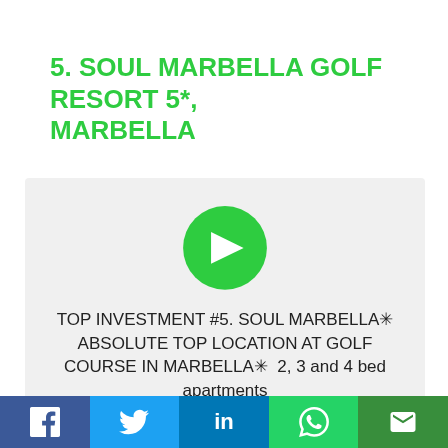5. SOUL MARBELLA GOLF RESORT 5*, MARBELLA
[Figure (infographic): Light grey card with a green circle arrow icon and text: TOP INVESTMENT #5. SOUL MARBELLA✳ ABSOLUTE TOP LOCATION AT GOLF COURSE IN MARBELLA✳  2, 3 and 4 bed apartments]
Facebook | Twitter | LinkedIn | WhatsApp | Email social share bar